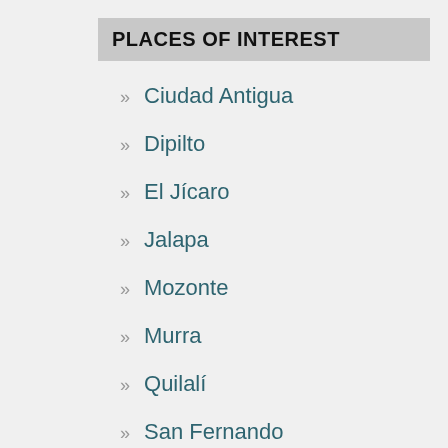PLACES OF INTEREST
Ciudad Antigua
Dipilto
El Jícaro
Jalapa
Mozonte
Murra
Quilalí
San Fernando